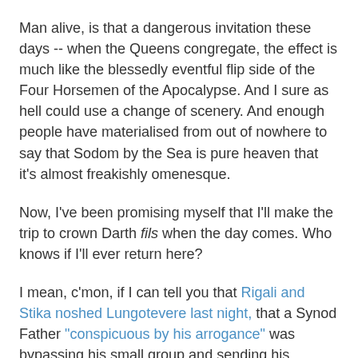Man alive, is that a dangerous invitation these days -- when the Queens congregate, the effect is much like the blessedly eventful flip side of the Four Horsemen of the Apocalypse. And I sure as hell could use a change of scenery. And enough people have materialised from out of nowhere to say that Sodom by the Sea is pure heaven that it's almost freakishly omenesque.
Now, I've been promising myself that I'll make the trip to crown Darth fils when the day comes. Who knows if I'll ever return here?
I mean, c'mon, if I can tell you that Rigali and Stika noshed Lungotevere last night, that a Synod Father "conspicuous by his arrogance" was bypassing his small group and sending his personal modi to the floor and that a certain national college went all kinds of nutty about an archiepiscopal "intruder" from six time zones away, then what's another three?
Hell, from this chair in which I'm sitting right now, I was The